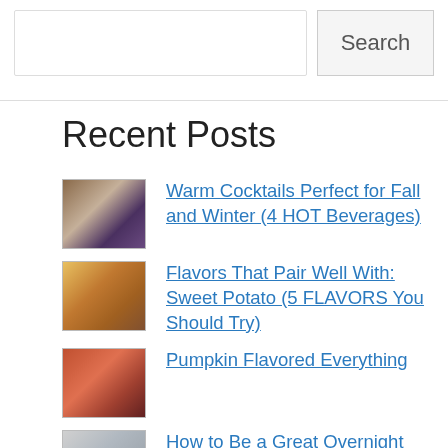Search
Recent Posts
Warm Cocktails Perfect for Fall and Winter (4 HOT Beverages)
Flavors That Pair Well With: Sweet Potato (5 FLAVORS You Should Try)
Pumpkin Flavored Everything
How to Be a Great Overnight Host (4 BASIC tips)
Flavors That Pair Well With: Brussel Sprouts (5 FLAVORS You Can't Miss)